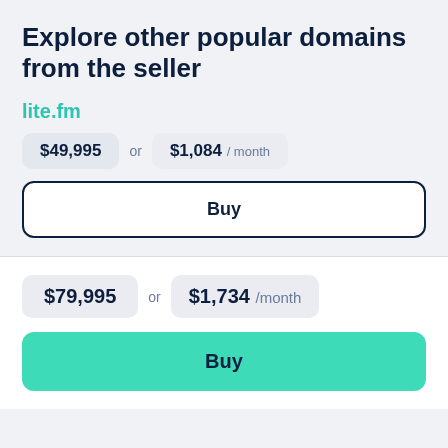Explore other popular domains from the seller
lite.fm
$49,995 or $1,084 / month
Buy
$79,995 or $1,734 /month
Buy